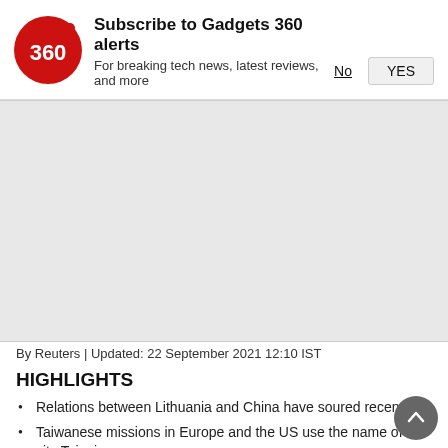[Figure (logo): Gadgets 360 logo — red circle with '360' text in white]
Subscribe to Gadgets 360 alerts
For breaking tech news, latest reviews, and more
No | YES
[Figure (other): Gray content/advertisement placeholder area]
By Reuters | Updated: 22 September 2021 12:10 IST
HIGHLIGHTS
Relations between Lithuania and China have soured recently
Taiwanese missions in Europe and the US use the name of the city Taipei